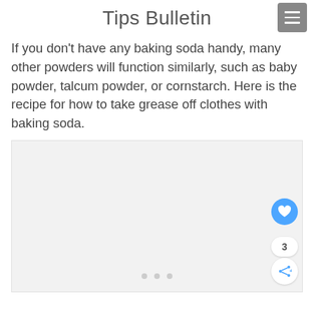Tips Bulletin
If you don’t have any baking soda handy, many other powders will function similarly, such as baby powder, talcum powder, or cornstarch. Here is the recipe for how to take grease off clothes with baking soda.
[Figure (photo): Light gray image placeholder with three dots at the bottom center, a blue heart FAB button, a count badge showing 3, and a share FAB button on the right side.]